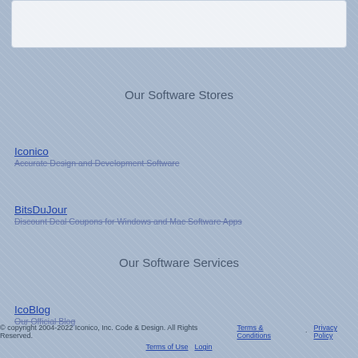Our Software Stores
Iconico
Accurate Design and Development Software
BitsDuJour
Discount Deal Coupons for Windows and Mac Software Apps
Our Software Services
IcoBlog
Our Official Blog
© copyright 2004-2022 Iconico, Inc. Code & Design. All Rights Reserved.   Terms & Conditions   Privacy Policy   Terms of Use   Login